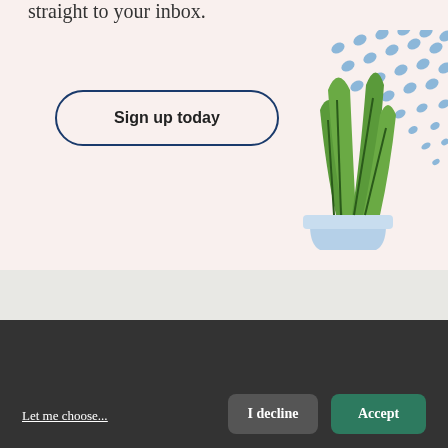straight to your inbox.
Sign up today
[Figure (illustration): Illustrated potted snake plant (sansevieria) with green leaves and dark stripes in a light blue pot, with decorative blue dot pattern in the upper right corner]
Hi! Could we please enable some additional services for Analytics, Marketing, Functionality, Strictly Necessary & Security? You can always change or withdraw your consent later.
Let me choose...
I decline
Accept